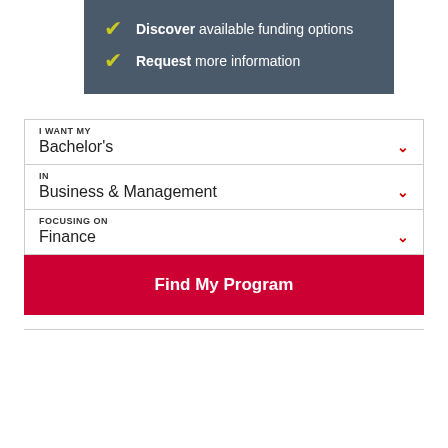Discover available funding options
Request more information
[Figure (screenshot): Form widget with dropdowns: I WANT MY = Bachelor's, IN = Business & Management, FOCUSING ON = Finance, and a Find My Program button]